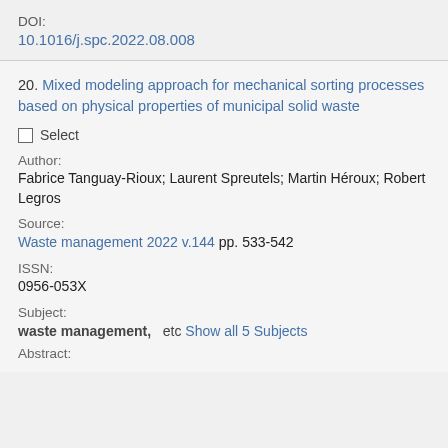DOI:
10.1016/j.spc.2022.08.008
20. Mixed modeling approach for mechanical sorting processes based on physical properties of municipal solid waste
Select
Author:
Fabrice Tanguay-Rioux; Laurent Spreutels; Martin Héroux; Robert Legros
Source:
Waste management 2022 v.144 pp. 533-542
ISSN:
0956-053X
Subject:
waste management, etc Show all 5 Subjects
Abstract: